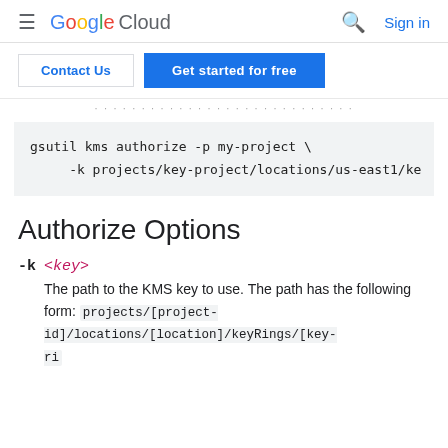Google Cloud — Sign in
Contact Us | Get started for free
...
gsutil kms authorize -p my-project \
     -k projects/key-project/locations/us-east1/ke
Authorize Options
-k <key>
The path to the KMS key to use. The path has the following form: projects/[project-id]/locations/[location]/keyRings/[key-ring]/cryptoKeys/[key-id]